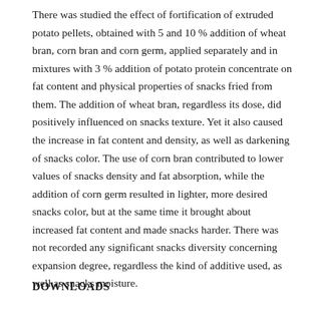There was studied the effect of fortification of extruded potato pellets, obtained with 5 and 10 % addition of wheat bran, corn bran and corn germ, applied separately and in mixtures with 3 % addition of potato protein concentrate on fat content and physical properties of snacks fried from them. The addition of wheat bran, regardless its dose, did positively influenced on snacks texture. Yet it also caused the increase in fat content and density, as well as darkening of snacks color. The use of corn bran contributed to lower values of snacks density and fat absorption, while the addition of corn germ resulted in lighter, more desired snacks color, but at the same time it brought about increased fat content and made snacks harder. There was not recorded any significant snacks diversity concerning expansion degree, regardless the kind of additive used, as well as snacks moisture.
DOWNLOADS